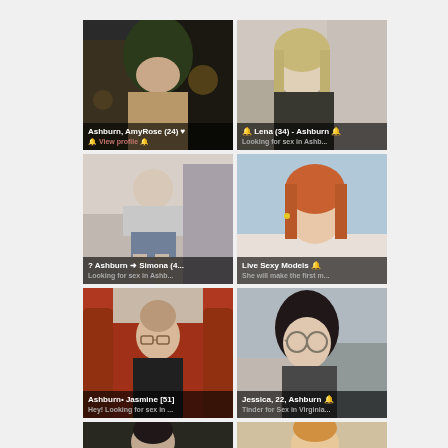[Figure (photo): Grid of 6 profile photo cards (2 per row, 3 rows visible) with overlay text labels showing names, ages, and location-based dating/hookup ad text. Top row: AmyRose(24) Ashburn with 'View profile' link; Lena(34) Ashburn 'Looking for sex in Ashb...'. Middle row: Simona(4...) Ashburn 'Looking for sex in Ashb...'; 'Live Sexy Models' 'She will make the first m...'. Bottom row: Jasmine[51] Ashburn 'Hey! Looking for sex in...'; Jessica, 22, Ashburn 'Tinder for Sex in Virginia...'. Partial 4th row visible at bottom.]